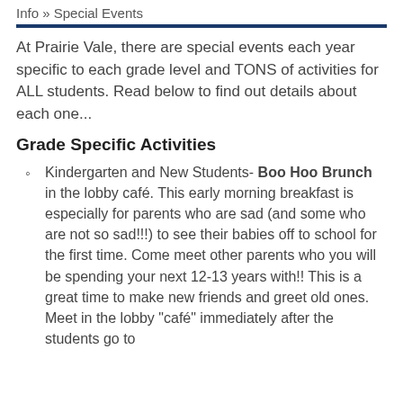Info » Special Events
At Prairie Vale, there are special events each year specific to each grade level and TONS of activities for ALL students. Read below to find out details about each one...
Grade Specific Activities
Kindergarten and New Students- Boo Hoo Brunch in the lobby café. This early morning breakfast is especially for parents who are sad (and some who are not so sad!!!) to see their babies off to school for the first time. Come meet other parents who you will be spending your next 12-13 years with!! This is a great time to make new friends and greet old ones. Meet in the lobby "café" immediately after the students go to